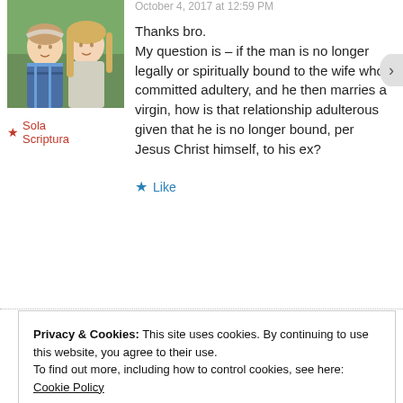[Figure (photo): Profile photo of a man and woman smiling outdoors]
★ Sola Scriptura
October 4, 2017 at 12:59 PM
Thanks bro.
My question is – if the man is no longer legally or spiritually bound to the wife who committed adultery, and he then marries a virgin, how is that relationship adulterous given that he is no longer bound, per Jesus Christ himself, to his ex?
★ Like
Privacy & Cookies: This site uses cookies. By continuing to use this website, you agree to their use.
To find out more, including how to control cookies, see here: Cookie Policy
Close and accept